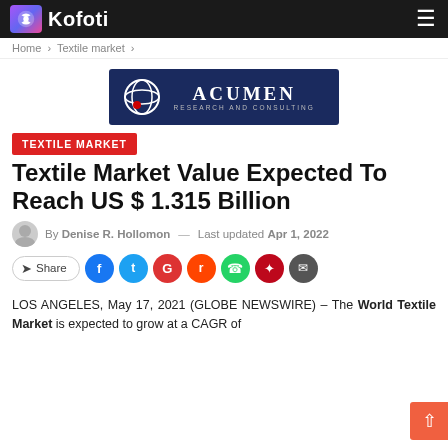Kofoti
Home > Textile market >
[Figure (logo): Acumen Research and Consulting logo on dark navy background]
TEXTILE MARKET
Textile Market Value Expected To Reach US $ 1.315 Billion
By Denise R. Hollomon — Last updated Apr 1, 2022
Share buttons: Facebook, Twitter, Google, Reddit, WhatsApp, Pinterest, Email
LOS ANGELES, May 17, 2021 (GLOBE NEWSWIRE) – The World Textile Market is expected to grow at a CAGR of